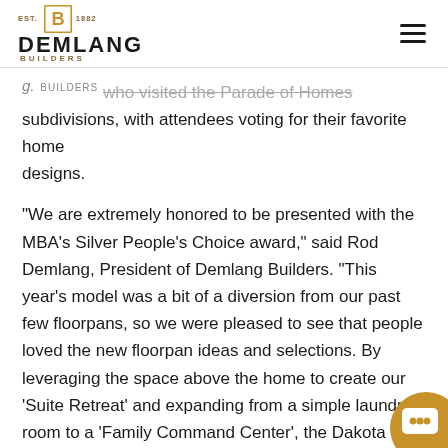EST. 1882 DEMLANG BUILDERS
g. BUILDERS who visited the Parade of Homes subdivisions, with attendees voting for their favorite home designs.
“We are extremely honored to be presented with the MBA’s Silver People’s Choice award,” said Rod Demlang, President of Demlang Builders. “This year’s model was a bit of a diversion from our past few floorpans, so we were pleased to see that people loved the new floorpan ideas and selections. By leveraging the space above the home to create our ‘Suite Retreat’ and expanding from a simple laundry room to a ‘Family Command Center’, the Dakota definitely keeps pace with today’s busy family lifestyle.”
Demlang Builders was also named a “2016 MBA Partners in Excellence.” Partners in Excellence recognizes all b…